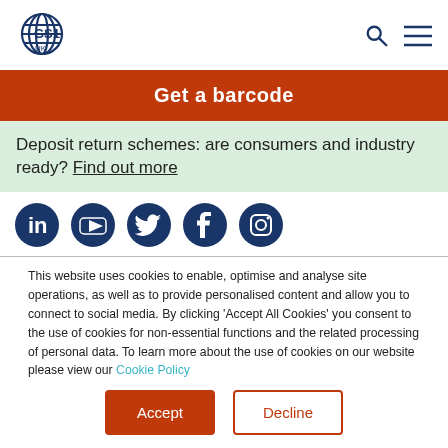GS1 UK logo, search and menu icons
Get a barcode
Deposit return schemes: are consumers and industry ready? Find out more
[Figure (other): Social media icons: LinkedIn, YouTube, Twitter, Facebook, Instagram]
This website uses cookies to enable, optimise and analyse site operations, as well as to provide personalised content and allow you to connect to social media. By clicking 'Accept All Cookies' you consent to the use of cookies for non-essential functions and the related processing of personal data. To learn more about the use of cookies on our website please view our Cookie Policy
Accept | Decline